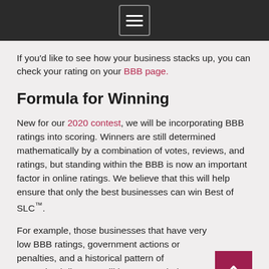Menu icon / navigation header
If you'd like to see how your business stacks up, you can check your rating on your BBB page.
Formula for Winning
New for our 2020 contest, we will be incorporating BBB ratings into scoring. Winners are still determined mathematically by a combination of votes, reviews, and ratings, but standing within the BBB is now an important factor in online ratings. We believe that this will help ensure that only the best businesses can win Best of SLC™.
For example, those businesses that have very low BBB ratings, government actions or penalties, and a historical pattern of unresolved disputes will have a tough time proving they're the best in Salt Lake County.